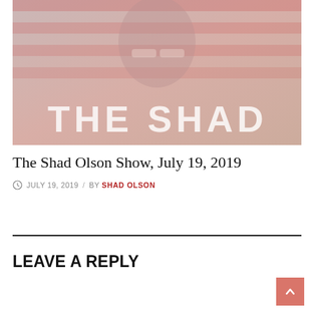[Figure (photo): Hero image for The Shad Olson Show: A person wearing reflective sunglasses in front of an American flag, with large text 'THE SHAD' overlaid in white distressed font at the bottom of the image.]
The Shad Olson Show, July 19, 2019
JULY 19, 2019 / BY SHAD OLSON
LEAVE A REPLY